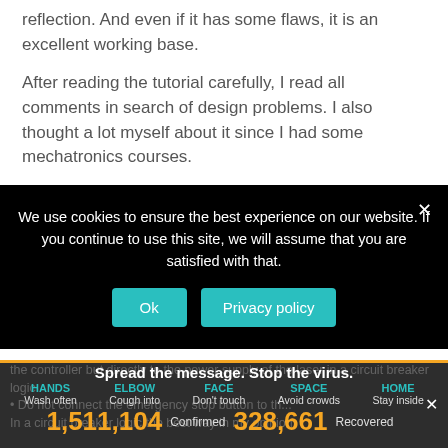reflection. And even if it has some flaws, it is an excellent working base.
After reading the tutorial carefully, I read all comments in search of design problems. I also thought a lot myself about it since I had some mechatronics courses.
Here is what I learned from this work :
[Figure (screenshot): Cookie consent banner overlay with black background. Text: 'We use cookies to ensure the best experience on our website. If you continue to use this site, we will assume that you are satisfied with that.' Two teal buttons: 'Ok' and 'Privacy policy'. Close X in top right.]
[Figure (infographic): COVID-19 public health message banner. 'Spread the message. Stop the virus.' Categories: HANDS (Wash often), ELBOW (Cough into), FACE (Don't touch), SPACE (Avoid crowds), HOME (Stay inside). Stats: 1,511,104 Confirmed, 328,661 Recovered.]